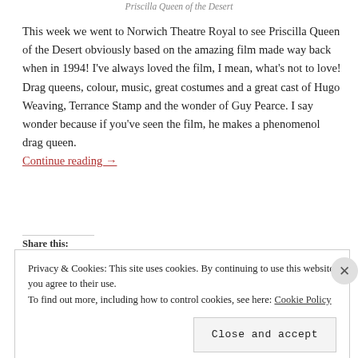Priscilla Queen of the Desert
This week we went to Norwich Theatre Royal to see Priscilla Queen of the Desert obviously based on the amazing film made way back when in 1994! I've always loved the film, I mean, what's not to love! Drag queens, colour, music, great costumes and a great cast of Hugo Weaving, Terrance Stamp and the wonder of Guy Pearce. I say wonder because if you've seen the film, he makes a phenomenol drag queen. Continue reading →
Share this:
Privacy & Cookies: This site uses cookies. By continuing to use this website, you agree to their use.
To find out more, including how to control cookies, see here: Cookie Policy
Close and accept